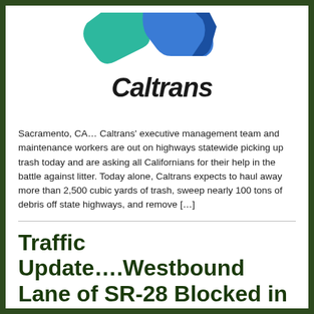[Figure (logo): Caltrans logo with teal and blue stylized 'CT' letters and italic 'Caltrans' text below]
Sacramento, CA… Caltrans' executive management team and maintenance workers are out on highways statewide picking up trash today and are asking all Californians for their help in the battle against litter. Today alone, Caltrans expects to haul away more than 2,500 cubic yards of trash, sweep nearly 100 tons of debris off state highways, and remove […]
Traffic Update….Westbound Lane of SR-28 Blocked in Kings Beach Near Beaver St.